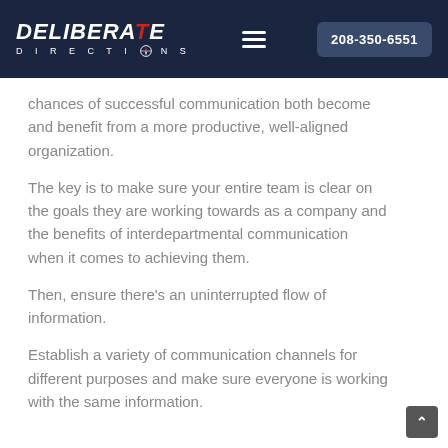DELIBERATE DIRECTIONS | 208-350-6551
chances of successful communication both become and benefit from a more productive, well-aligned organization.
The key is to make sure your entire team is clear on the goals they are working towards as a company and the benefits of interdepartmental communication when it comes to achieving them.
Then, ensure there's an uninterrupted flow of information.
Establish a variety of communication channels for different purposes and make sure everyone is working with the same information.